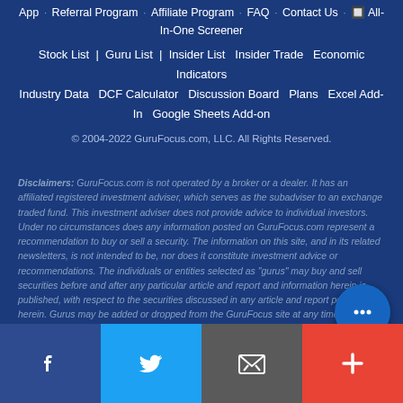App · Referral Program · Affiliate Program · FAQ · Contact Us · All-In-One Screener
Stock List · Guru List · Insider List · Insider Trade · Economic Indicators · Industry Data · DCF Calculator · Discussion Board · Plans · Excel Add-In · Google Sheets Add-on
© 2004-2022 GuruFocus.com, LLC. All Rights Reserved.
Disclaimers: GuruFocus.com is not operated by a broker or a dealer. It has an affiliated registered investment adviser, which serves as the subadviser to an exchange traded fund. This investment adviser does not provide advice to individual investors. Under no circumstances does any information posted on GuruFocus.com represent a recommendation to buy or sell a security. The information on this site, and in its related newsletters, is not intended to be, nor does it constitute investment advice or recommendations. The individuals or entities selected as "gurus" may buy and sell securities before and after any particular article and report and information herein is published, with respect to the securities discussed in any article and report posted herein. Gurus may be added or dropped from the GuruFocus site at any time. In no event shall GuruFoc...